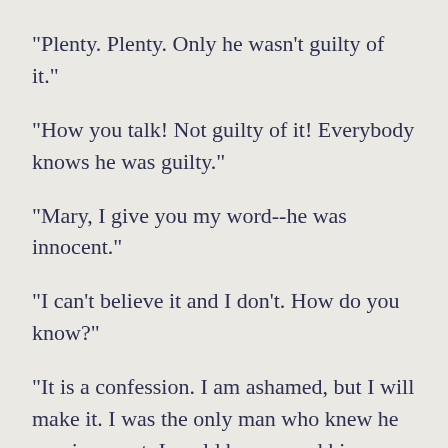"Plenty. Plenty. Only he wasn't guilty of it."
"How you talk! Not guilty of it! Everybody knows he was guilty."
"Mary, I give you my word--he was innocent."
"I can't believe it and I don't. How do you know?"
"It is a confession. I am ashamed, but I will make it. I was the only man who knew he was innocent. I could have saved him,